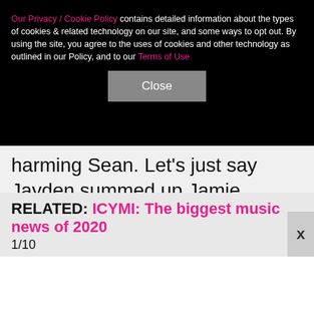Our Privacy / Cookie Policy contains detailed information about the types of cookies & related technology on our site, and some ways to opt out. By using the site, you agree to the uses of cookies and other technology as outlined in our Policy, and to our Terms of Use
Close
harming Sean. Let's just say Jayden summed up Jamie Spears with a not-so-friendly four-letter word. On a happier note, he apparently gave two thumbs-up to Britney's boyfriend, Sam Asghari. Jayden's account was later made private.
Keep reading for the latest on Katy Perry's ex, Russell Brand ...
RELATED: ICYMI: The biggest music news of 2020
1/10